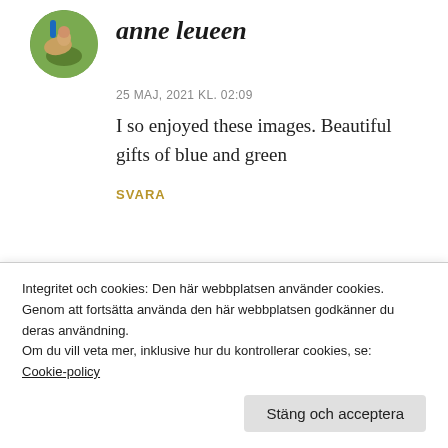[Figure (photo): Circular avatar photo of a person on a horse on green grass background]
anne leueen
25 MAJ, 2021 KL. 02:09
I so enjoyed these images. Beautiful gifts of blue and green
SVARA
[Figure (photo): Circular avatar photo with grey tones]
Leya
Integritet och cookies: Den här webbplatsen använder cookies. Genom att fortsätta använda den här webbplatsen godkänner du deras användning.
Om du vill veta mer, inklusive hur du kontrollerar cookies, se: Cookie-policy
Stäng och acceptera